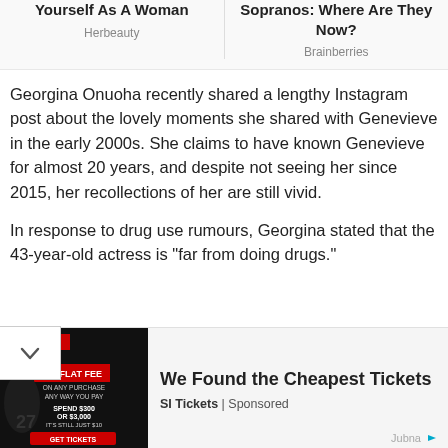Yourself As A Woman
Herbeauty
Sopranos: Where Are They Now?
Brainberries
Georgina Onuoha recently shared a lengthy Instagram post about the lovely moments she shared with Genevieve in the early 2000s. She claims to have known Genevieve for almost 20 years, and despite not seeing her since 2015, her recollections of her are still vivid.
In response to drug use rumours, Georgina stated that the 43-year-old actress is “far from doing drugs.”
[Figure (photo): SI Tickets advertisement image showing a football player with text: $10 FLAT FEE, ON ANY PURCHASE ANY WAY YOU PAY, SPEND $300 OR $3,000 IT'S STILL JUST $10, GET TICKETS]
We Found the Cheapest Tickets
SI Tickets | Sponsored
Jubna